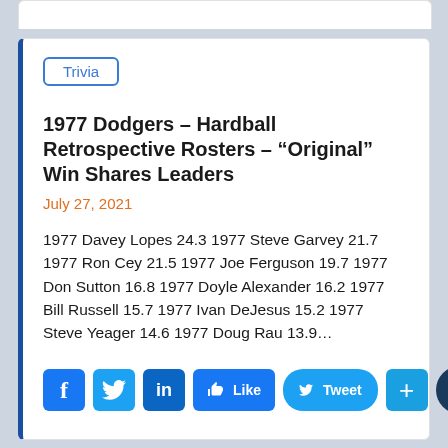Trivia
1977 Dodgers – Hardball Retrospective Rosters – "Original" Win Shares Leaders
July 27, 2021
1977 Davey Lopes 24.3 1977 Steve Garvey 21.7 1977 Ron Cey 21.5 1977 Joe Ferguson 19.7 1977 Don Sutton 16.8 1977 Doyle Alexander 16.2 1977 Bill Russell 15.7 1977 Ivan DeJesus 15.2 1977 Steve Yeager 14.6 1977 Doug Rau 13.9...